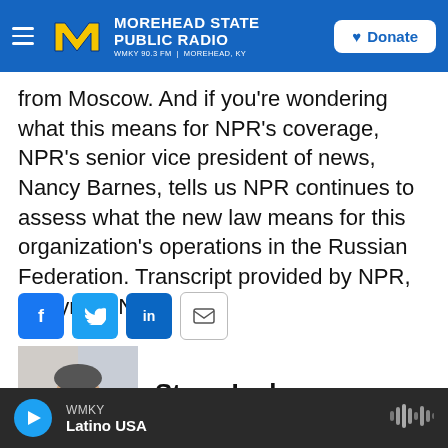Morehead State Public Radio — WMKY 90.3 FM | Morehead, KY — Donate
from Moscow. And if you're wondering what this means for NPR's coverage, NPR's senior vice president of news, Nancy Barnes, tells us NPR continues to assess what the new law means for this organization's operations in the Russian Federation. Transcript provided by NPR, Copyright NPR.
[Figure (infographic): Social sharing buttons: Facebook (f), Twitter (bird), LinkedIn (in), Email (envelope)]
[Figure (photo): Headshot photo of Steve Inskeep, a man in his 50s smiling, wearing business attire]
Steve Inskeep
WMKY — Latino USA — Play button audio player